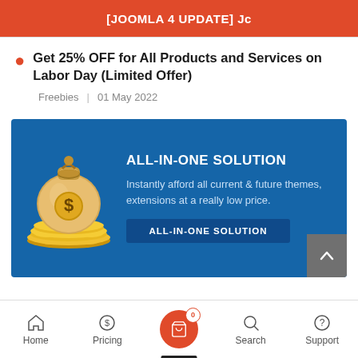[JOOMLA 4 UPDATE] Jc
Get 25% OFF for All Products and Services on Labor Day (Limited Offer)
Freebies  |  01 May 2022
[Figure (infographic): Blue banner ad with money bag and gold coins illustration. Text: ALL-IN-ONE SOLUTION. Instantly afford all current & future themes, extensions at a really low price. Button: ALL-IN-ONE SOLUTION]
Home | Pricing | (cart 0) | Search | Support